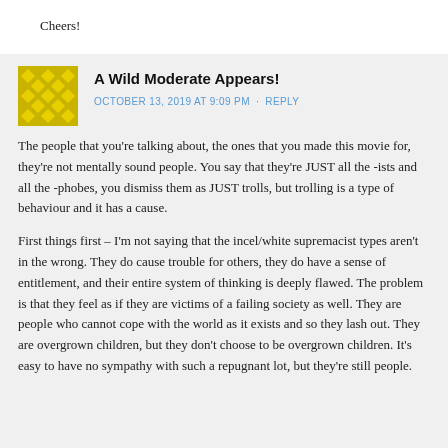Cheers!
A Wild Moderate Appears!
OCTOBER 13, 2019 AT 9:09 PM · REPLY
The people that you're talking about, the ones that you made this movie for, they're not mentally sound people. You say that they're JUST all the -ists and all the -phobes, you dismiss them as JUST trolls, but trolling is a type of behaviour and it has a cause.
First things first – I'm not saying that the incel/white supremacist types aren't in the wrong. They do cause trouble for others, they do have a sense of entitlement, and their entire system of thinking is deeply flawed. The problem is that they feel as if they are victims of a failing society as well. They are people who cannot cope with the world as it exists and so they lash out. They are overgrown children, but they don't choose to be overgrown children. It's easy to have no sympathy with such a repugnant lot, but they're still people.